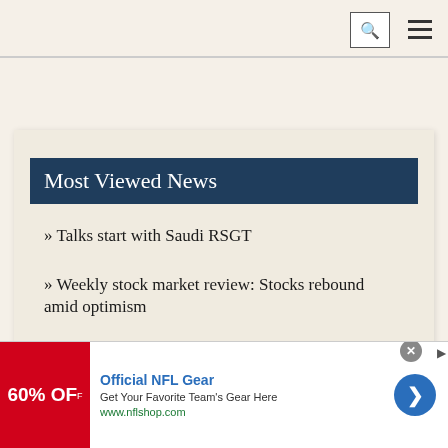Search | Menu
Most Viewed News
» Talks start with Saudi RSGT
» Weekly stock market review: Stocks rebound amid optimism
» Real wages wane as inflation bites
[Figure (other): Advertisement banner for Official NFL Gear: '60% OFF' with red background image, blue title, description 'Get Your Favorite Team's Gear Here', URL www.nflshop.com, blue circular arrow button, close X button]